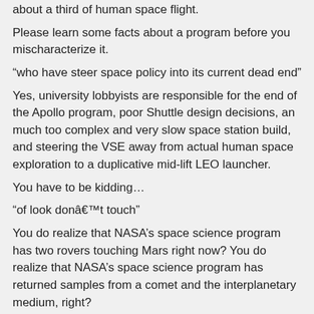about a third of human space flight.
Please learn some facts about a program before you mischaracterize it.
“who have steer space policy into its current dead end”
Yes, university lobbyists are responsible for the end of the Apollo program, poor Shuttle design decisions, an much too complex and very slow space station build, and steering the VSE away from actual human space exploration to a duplicative mid-lift LEO launcher.
You have to be kidding…
“of look dona€t touch”
You do realize that NASA’s space science program has two rovers touching Mars right now? You do realize that NASA’s space science program has returned samples from a comet and the interplanetary medium, right?
Don’t make claims that have no basis in reality.
“and robots only space policy options.”
Oh yes, the final report of the Augustine Committee is just dominated by robot-only options, and those are the only ones getting any serious consideration at the Whit